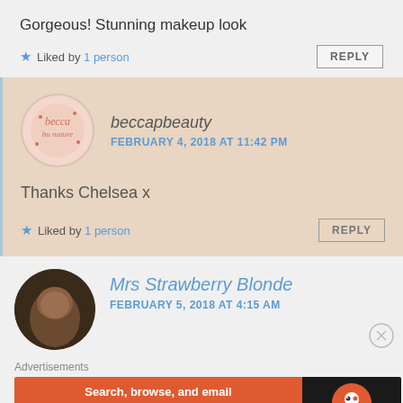Gorgeous! Stunning makeup look
★ Liked by 1 person
beccapbeauty
FEBRUARY 4, 2018 AT 11:42 PM
Thanks Chelsea x
★ Liked by 1 person
Mrs Strawberry Blonde
FEBRUARY 5, 2018 AT 4:15 AM
Advertisements
Search, browse, and email with more privacy.
All in One Free App
DuckDuckGo